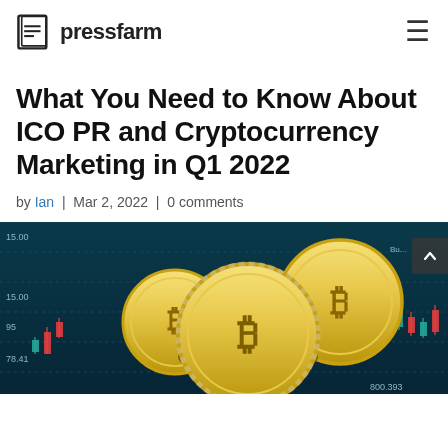pressfarm
What You Need to Know About ICO PR and Cryptocurrency Marketing in Q1 2022
by Ian | Mar 2, 2022 | 0 comments
[Figure (photo): Three gold Bitcoin coins stacked on a surface with trading charts and candlestick chart data visible in the background, with teal and red candlestick bars.]